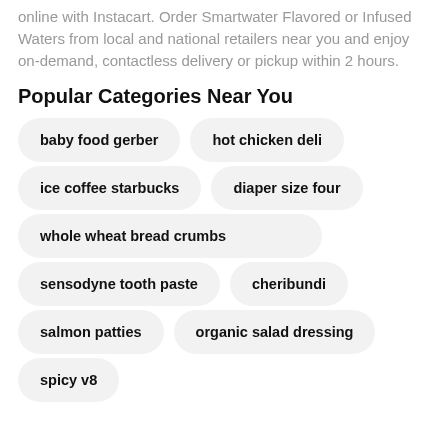online with Instacart. Order Smartwater Flavored or Infused Waters from local and national retailers near you and enjoy on-demand, contactless delivery or pickup within 2 hours.
Popular Categories Near You
baby food gerber
hot chicken deli
ice coffee starbucks
diaper size four
whole wheat bread crumbs
sensodyne tooth paste
cheribundi
salmon patties
organic salad dressing
spicy v8